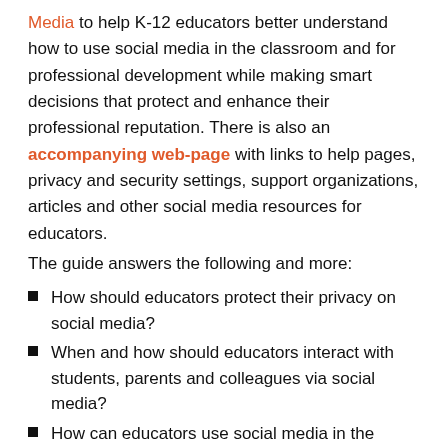Media to help K-12 educators better understand how to use social media in the classroom and for professional development while making smart decisions that protect and enhance their professional reputation. There is also an accompanying web-page with links to help pages, privacy and security settings, support organizations, articles and other social media resources for educators.
The guide answers the following and more:
How should educators protect their privacy on social media?
When and how should educators interact with students, parents and colleagues via social media?
How can educators use social media in the classroom?
How educators can use social media to enhance — not risk — their reputation